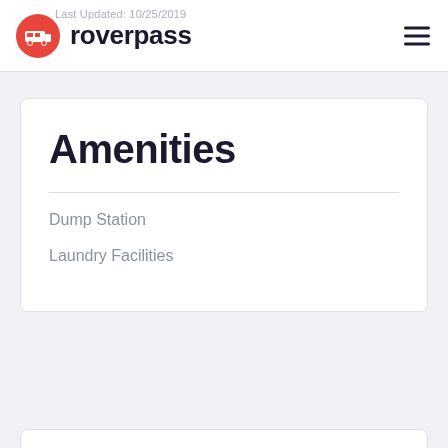Last Updated: 10/25/2019
roverpass
Amenities
Dump Station
Laundry Facilities